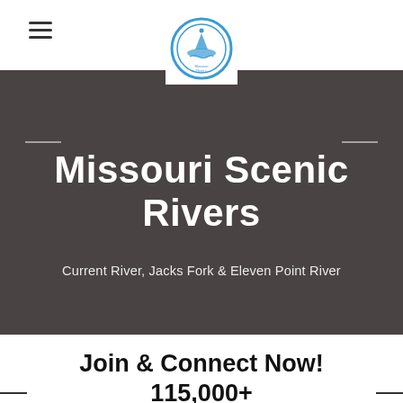[Figure (logo): Missouri Rivers circular logo with boat icon, blue border, white background]
Missouri Scenic Rivers
Current River, Jacks Fork & Eleven Point River
Join & Connect Now! 115,000+ Members.